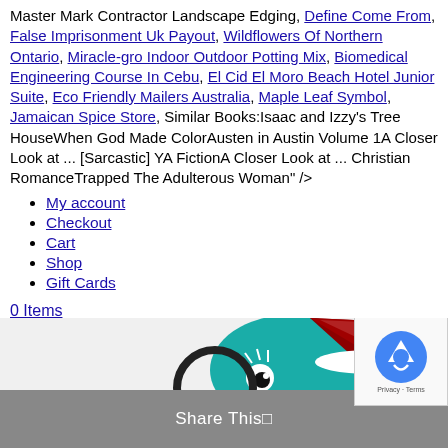Master Mark Contractor Landscape Edging, Define Come From, False Imprisonment Uk Payout, Wildflowers Of Northern Ontario, Miracle-gro Indoor Outdoor Potting Mix, Biomedical Engineering Course In Cebu, El Cid El Moro Beach Hotel Junior Suite, Eco Friendly Mailers Australia, Maple Leaf Symbol, Jamaican Spice Store, Similar Books:Isaac and Izzy's Tree HouseWhen God Made ColorAusten in Austin Volume 1A Closer Look at ... [Sarcastic] YA FictionA Closer Look at ... Christian RomanceTrapped The Adulterous Woman" />
My account
Checkout
Cart
Shop
Gift Cards
0 Items
[Figure (illustration): Cartoon fish character wearing a Santa hat with magnifying glass, partial view. Share This button overlay on grey bar. reCAPTCHA Privacy-Terms box in bottom right corner.]